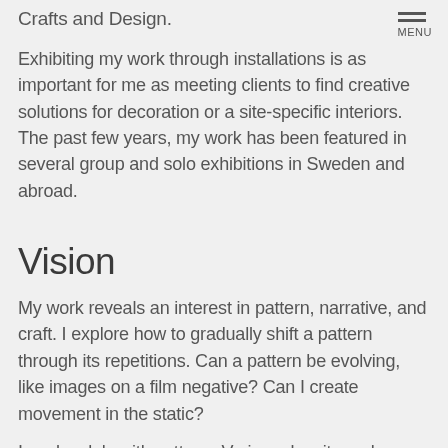Crafts and Design.
Exhibiting my work through installations is as important for me as meeting clients to find creative solutions for decoration or a site-specific interiors. The past few years, my work has been featured in several group and solo exhibitions in Sweden and abroad.
Vision
My work reveals an interest in pattern, narrative, and craft. I explore how to gradually shift a pattern through its repetitions. Can a pattern be evolving, like images on a film negative? Can I create movement in the static?
I work solely with cottons. Various density and